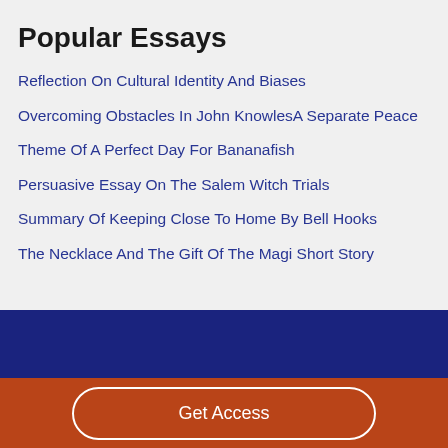Popular Essays
Reflection On Cultural Identity And Biases
Overcoming Obstacles In John KnowlesA Separate Peace
Theme Of A Perfect Day For Bananafish
Persuasive Essay On The Salem Witch Trials
Summary Of Keeping Close To Home By Bell Hooks
The Necklace And The Gift Of The Magi Short Story
Get Access